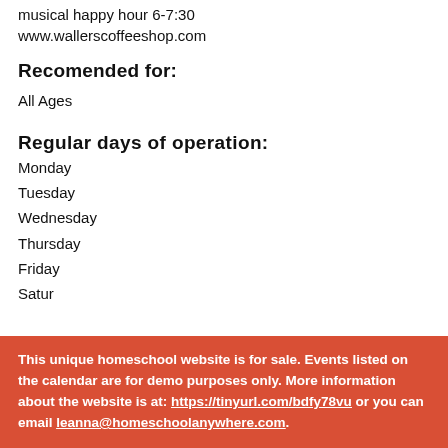musical happy hour 6-7:30
www.wallerscoffeeshop.com
Recomended for:
All Ages
Regular days of operation:
Monday
Tuesday
Wednesday
Thursday
Friday
Saturday
This unique homeschool website is for sale. Events listed on the calendar are for demo purposes only. More information about the website is at: https://tinyurl.com/bdfy78vu or you can email leanna@homeschoolanywhere.com.